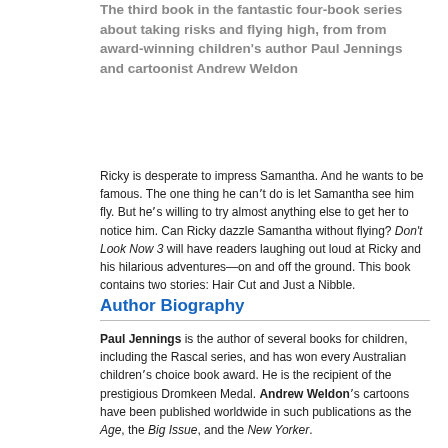The third book in the fantastic four-book series about taking risks and flying high, from from award-winning children's author Paul Jennings and cartoonist Andrew Weldon
Ricky is desperate to impress Samantha. And he wants to be famous. The one thing he can't do is let Samantha see him fly. But he's willing to try almost anything else to get her to notice him. Can Ricky dazzle Samantha without flying? Don't Look Now 3 will have readers laughing out loud at Ricky and his hilarious adventures—on and off the ground. This book contains two stories: Hair Cut and Just a Nibble.
Author Biography
Paul Jennings is the author of several books for children, including the Rascal series, and has won every Australian children's choice book award. He is the recipient of the prestigious Dromkeen Medal. Andrew Weldon's cartoons have been published worldwide in such publications as the Age, the Big Issue, and the New Yorker.